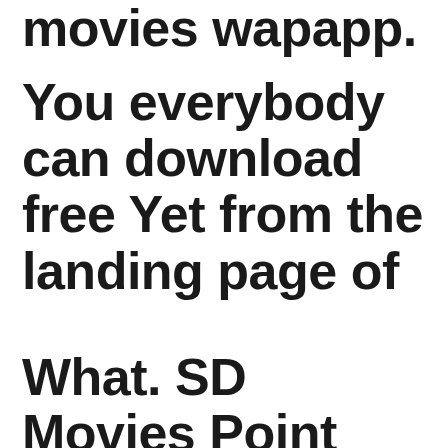movies wapapp.
You everybody can download free Yet from the landing page of
What. SD Movies Point 2022
At locales like The, Bol HD...